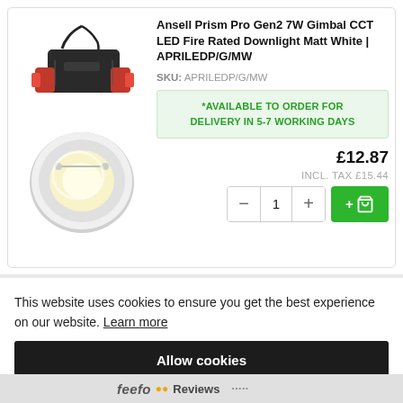[Figure (photo): Ansell Prism Pro Gen2 LED downlight product images: top image shows the driver/module component (black box with red connectors), bottom image shows the white gimbal downlight fitting (round, white circular lamp)]
Ansell Prism Pro Gen2 7W Gimbal CCT LED Fire Rated Downlight Matt White | APRILEDP/G/MW
SKU: APRILEDP/G/MW
*AVAILABLE TO ORDER FOR DELIVERY IN 5-7 WORKING DAYS
£12.87
INCL. TAX £15.44
This website uses cookies to ensure you get the best experience on our website. Learn more
Allow cookies
feefo Reviews